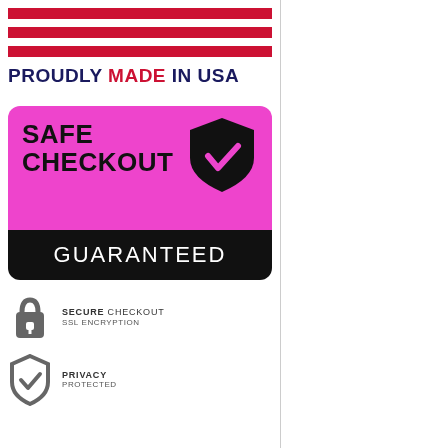[Figure (infographic): Three red horizontal stripes representing USA flag bars]
PROUDLY MADE IN USA
[Figure (infographic): Safe Checkout Guaranteed badge with magenta top section showing shield with checkmark icon and SAFE CHECKOUT text, black bottom section with GUARANTEED text]
[Figure (infographic): Lock icon with text SECURE CHECKOUT SSL ENCRYPTION]
[Figure (infographic): Shield with checkmark icon with text PRIVACY PROTECTED]